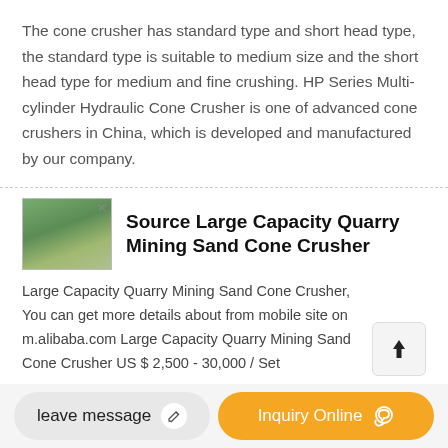The cone crusher has standard type and short head type, the standard type is suitable to medium size and the short head type for medium and fine crushing. HP Series Multi-cylinder Hydraulic Cone Crusher is one of advanced cone crushers in China, which is developed and manufactured by our company.
[Figure (photo): Thumbnail image of a large green cone crusher machine]
Source Large Capacity Quarry Mining Sand Cone Crusher
Large Capacity Quarry Mining Sand Cone Crusher, You can get more details about from mobile site on m.alibaba.com Large Capacity Quarry Mining Sand Cone Crusher US $ 2,500 - 30,000 / Set
leave message
Inquiry Online